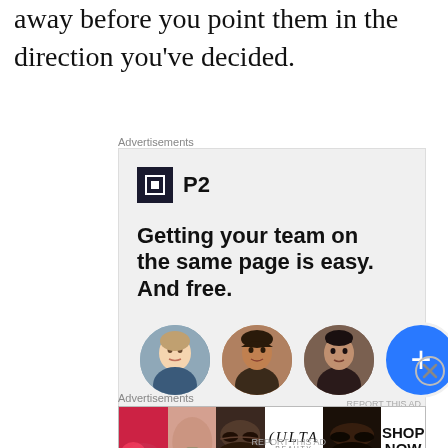away before you point them in the direction you've decided.
Advertisements
[Figure (infographic): P2 advertisement showing logo with dark square icon, headline 'Getting your team on the same page is easy. And free.' and three circular avatar photos plus a blue plus button]
Advertisements
[Figure (infographic): Ulta Beauty advertisement with makeup imagery — lipstick, brush, eye makeup photos, Ulta logo, and 'SHOP NOW' call to action]